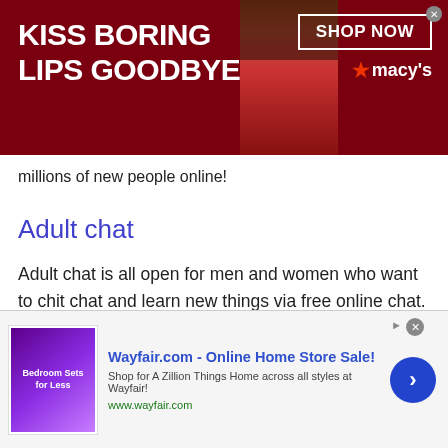[Figure (screenshot): Top banner advertisement for Macy's with red background, text 'KISS BORING LIPS GOODBYE', 'SHOP NOW' button, Macy's logo with star, and a close X button. Center shows a woman's lips with red lipstick.]
millions of new people online!
Adult chat
Adult chat is all open for men and women who want to chit chat and learn new things via free online chat. Talk to strangers in Turkmenistan at Talkwithstranger men and women chat rooms help you connect with the world absolutely free. If you are searching for friends online from different
[Figure (screenshot): Bottom advertisement for Wayfair.com - Online Home Store Sale! with bedroom furniture image, description 'Shop for A Zillion Things Home across all styles at Wayfair!', URL www.wayfair.com, and a blue arrow button.]